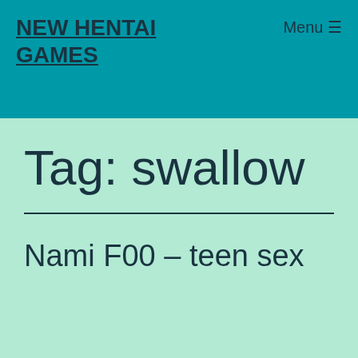NEW HENTAI GAMES
Tag: swallow
Nami F00 – teen sex